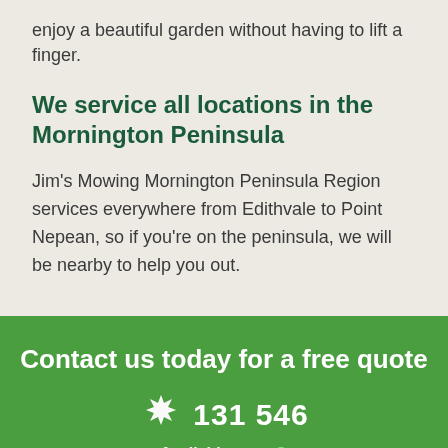enjoy a beautiful garden without having to lift a finger.
We service all locations in the Mornington Peninsula
Jim's Mowing Mornington Peninsula Region services everywhere from Edithvale to Point Nepean, so if you're on the peninsula, we will be nearby to help you out.
Contact us today for a free quote
131 546
Available now
Book Online